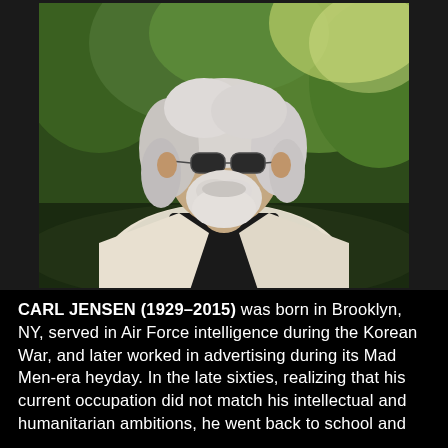[Figure (photo): An elderly man with long white hair, white beard, wearing sunglasses and a light-colored blazer over a dark shirt, photographed outdoors with green trees in the background, in an interview-style setting.]
CARL JENSEN (1929–2015) was born in Brooklyn, NY, served in Air Force intelligence during the Korean War, and later worked in advertising during its Mad Men-era heyday. In the late sixties, realizing that his current occupation did not match his intellectual and humanitarian ambitions, he went back to school and